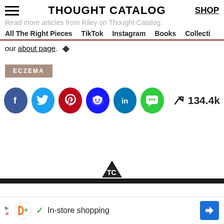THOUGHT CATALOG | SHOP
Read more articles from Riley on Thought Catalog.
All The Right Pieces   TikTok   Instagram   Books   Collecti…
our about page. ◆
ECZEMA
[Figure (infographic): Social share buttons: Facebook, Twitter, Pinterest, Reddit, LinkedIn, Messaging. Share count: 134.4k]
[Figure (logo): Thought Catalog logo/icon at bottom center]
In-store shopping (advertisement bar)